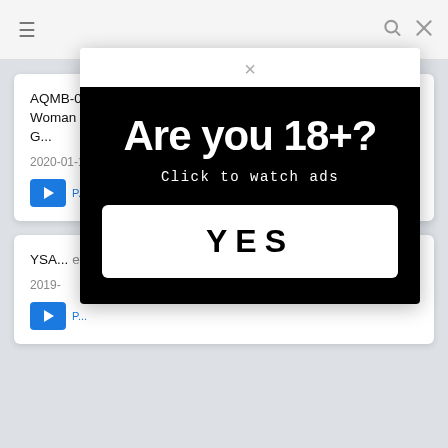≡  🔍  ✕
AQMB-014 Studio Aquamall/Hero - Members Only A Married Woman Home Pink Salon I'll Use My Mouth To Make You Feel G...
2020-01-17
YSA... er' Life
2019-
[Figure (screenshot): Age verification popup modal with black background. Large white bold text 'Are you 18+?' with subtext 'Click to watch ads' in monospace font. A white button with bold black text 'YES'. A close button (×) at top center.]